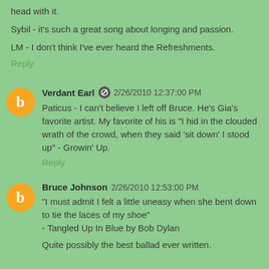head with it.
Sybil - it's such a great song about longing and passion.
LM - I don't think I've ever heard the Refreshments.
Reply
Verdant Earl  2/26/2010 12:37:00 PM
Paticus - I can't believe I left off Bruce. He's Gia's favorite artist. My favorite of his is "I hid in the clouded wrath of the crowd, when they said 'sit down' I stood up" - Growin' Up.
Reply
Bruce Johnson 2/26/2010 12:53:00 PM
"I must admit I felt a little uneasy when she bent down to tie the laces of my shoe"
- Tangled Up In Blue by Bob Dylan
Quite possibly the best ballad ever written.